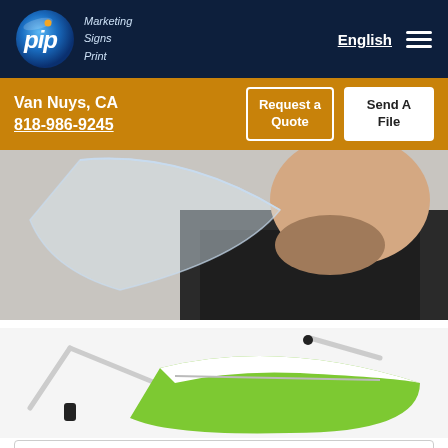[Figure (logo): PIP Marketing Signs Print logo — circular blue gradient badge with 'pip' in white italic text and orange dot, with tagline 'Marketing Signs Print' in light blue italic text]
English
Van Nuys, CA
818-986-9245
Request a Quote
Send A File
[Figure (photo): Side profile of a man wearing a transparent face shield, dressed in a dark shirt]
[Figure (photo): A green and white face mask with adjustable ear straps, partially visible]
By clicking "Accept All Cookies", you agree to the